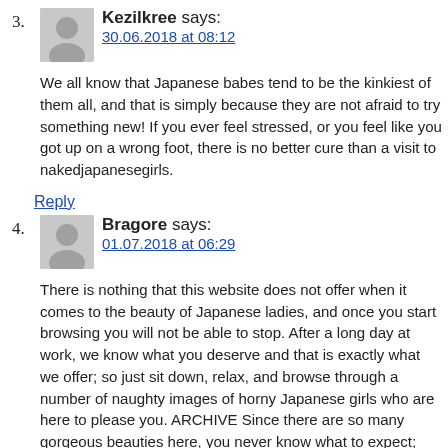3. Kezilkree says: 30.06.2018 at 08:12
We all know that Japanese babes tend to be the kinkiest of them all, and that is simply because they are not afraid to try something new! If you ever feel stressed, or you feel like you got up on a wrong foot, there is no better cure than a visit to nakedjapanesegirls.
Reply
4. Bragore says: 01.07.2018 at 06:29
There is nothing that this website does not offer when it comes to the beauty of Japanese ladies, and once you start browsing you will not be able to stop. After a long day at work, we know what you deserve and that is exactly what we offer; so just sit down, relax, and browse through a number of naughty images of horny Japanese girls who are here to please you. ARCHIVE Since there are so many gorgeous beauties here, you never know what to expect; from the shy Asian princesses who like to bashfully flash